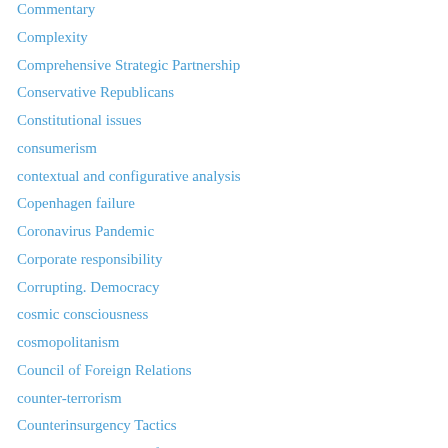Commentary
Complexity
Comprehensive Strategic Partnership
Conservative Republicans
Constitutional issues
consumerism
contextual and configurative analysis
Copenhagen failure
Coronavirus Pandemic
Corporate responsibility
Corrupting. Democracy
cosmic consciousness
cosmopolitanism
Council of Foreign Relations
counter-terrorism
Counterinsurgency Tactics
counterinsurgency warfare
Counterinsurgency Wars
Counterrevolution
counterterrorism